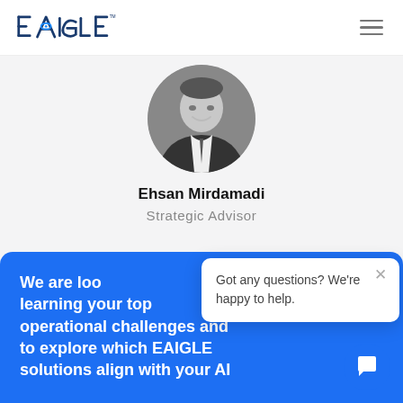EAIGLE
[Figure (photo): Black and white circular headshot photo of Ehsan Mirdamadi, a man in a suit, smiling]
Ehsan Mirdamadi
Strategic Advisor
We are loo learning your top operational challenges and to explore which EAIGLE solutions align with your AI
Got any questions? We're happy to help.